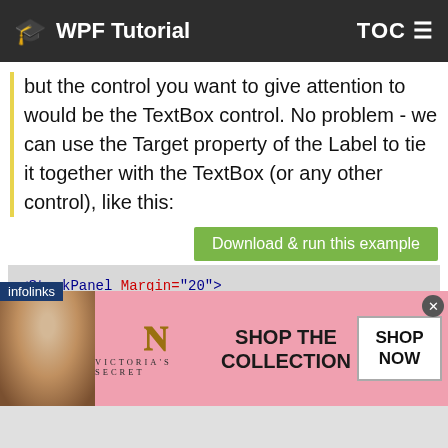WPF Tutorial  TOC
but the control you want to give attention to would be the TextBox control. No problem - we can use the Target property of the Label to tie it together with the TextBox (or any other control), like this:
[Figure (screenshot): Green button reading 'Download & run this example']
[Figure (screenshot): Code block showing XAML: <StackPanel Margin="20"> <Label Content="_First name:" Target="{Bindi... <TextBox Name="txtFirstName" /> <Label Content="_Last name:" Target="{Bindin... <TextBox Name="txtLastName" /> <Button Content="_Save" Margin="20"></Button... </StackPanel>]
[Figure (photo): Victoria's Secret advertisement banner with woman photo, VS logo, 'SHOP THE COLLECTION' text, and 'SHOP NOW' button]